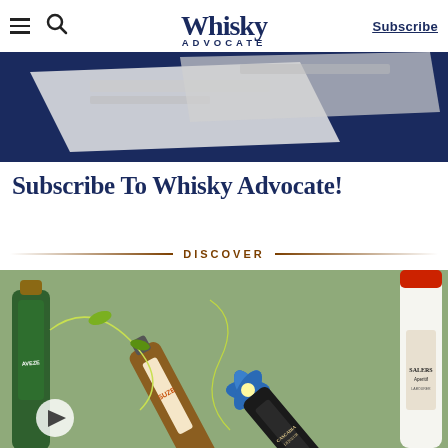Whisky Advocate — Subscribe
[Figure (screenshot): Partial view of a dark navy background with a white envelope/magazine partially visible — top banner image for Subscribe To Whisky Advocate page]
Subscribe To Whisky Advocate!
DISCOVER
[Figure (photo): Arrangement of spirit bottles including Aveze, Suze, Cascadia Liqueur, and Salers Aperitif on a green background with a blue gentian flower and botanical elements. A play button overlay is visible in the lower left.]